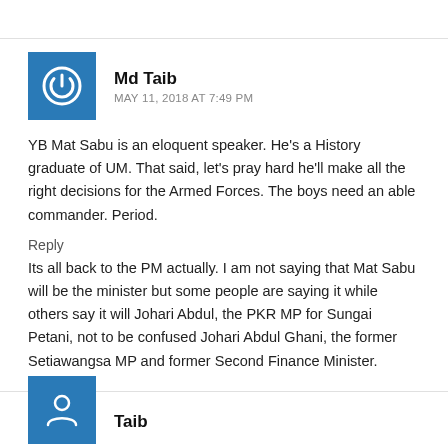Md Taib
MAY 11, 2018 AT 7:49 PM
YB Mat Sabu is an eloquent speaker. He's a History graduate of UM. That said, let's pray hard he'll make all the right decisions for the Armed Forces. The boys need an able commander. Period.
Reply
Its all back to the PM actually. I am not saying that Mat Sabu will be the minister but some people are saying it while others say it will Johari Abdul, the PKR MP for Sungai Petani, not to be confused Johari Abdul Ghani, the former Setiawangsa MP and former Second Finance Minister.
Taib